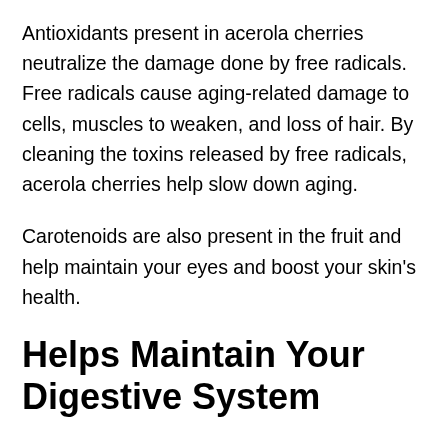Antioxidants present in acerola cherries neutralize the damage done by free radicals. Free radicals cause aging-related damage to cells, muscles to weaken, and loss of hair. By cleaning the toxins released by free radicals, acerola cherries help slow down aging.
Carotenoids are also present in the fruit and help maintain your eyes and boost your skin's health.
Helps Maintain Your Digestive System